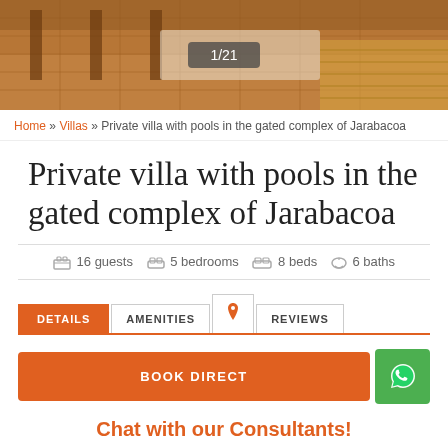[Figure (photo): Hero image of villa interior showing tiled floor, wooden railings, and woven furniture, with a counter overlay showing 1/21]
Home » Villas » Private villa with pools in the gated complex of Jarabacoa
Private villa with pools in the gated complex of Jarabacoa
16 guests   5 bedrooms   8 beds   6 baths
DETAILS   AMENITIES   [location icon]   REVIEWS
BOOK DIRECT
Chat with our Consultants!